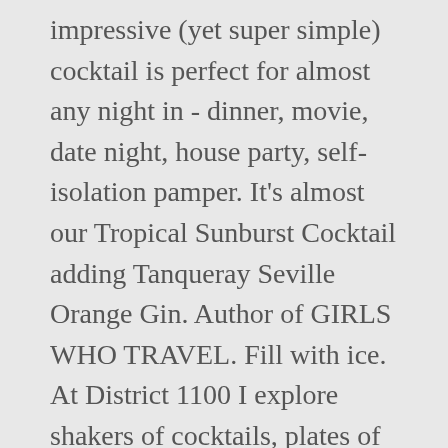impressive (yet super simple) cocktail is perfect for almost any night in - dinner, movie, date night, house party, self-isolation pamper. It's almost our Tropical Sunburst Cocktail adding Tanqueray Seville Orange Gin. Author of GIRLS WHO TRAVEL. Fill with ice. At District 1100 I explore shakers of cocktails, plates of food and post photos from my travel wanderlust. While you can (and should) enjoy the original Breakfast Martini at The Lanesborough, itâ□□s easy enough to make at home. The award-winning Wild Fig has the fantastic, small-batch Seville Orange and Gin Marmalade with Pink Grapefruit and Rosemary, made from foraged Scottish botanicals, pink grapefruit... Designed and